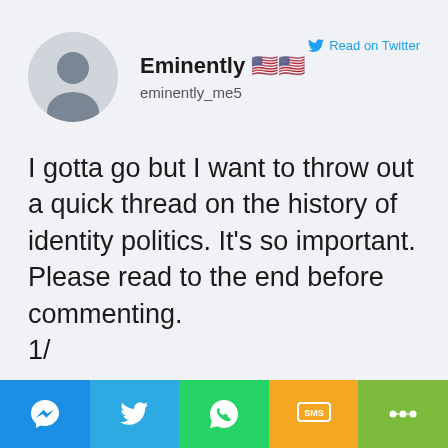[Figure (illustration): Twitter screenshot showing a tweet from user 'Eminently' (@eminently_me5) with a default grey avatar, display name in bold, a 'Read on Twitter' link with bird icon, and tweet text reading: 'I gotta go but I want to throw out a quick thread on the history of identity politics. It's so important. Please read to the end before commenting. 1/']
Share bar with Messenger, Twitter, WhatsApp, SMS, and Other share buttons